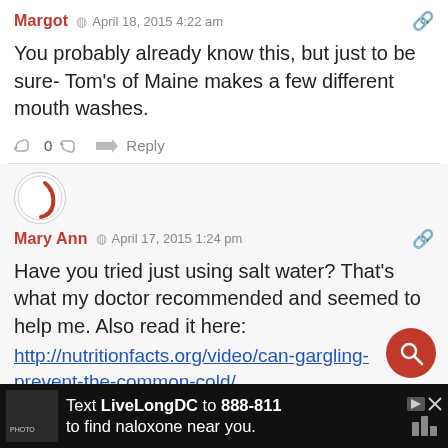Margot  April 18, 2015 4:22 am
You probably already know this, but just to be sure- Tom's of Maine makes a few different mouth washes.
0  Reply
[Figure (illustration): Avatar circle with partial red logo]
Mary Ann  April 17, 2015 1:24 pm
Have you tried just using salt water? That's what my doctor recommended and seemed to help me. Also read it here: http://nutritionfacts.org/video/can-gargling-prevent-the-common-cold/
0  Reply
[Figure (other): Search FAB button (red circle with magnifier)]
Text LiveLongDC to 888-811 to find naloxone near you.